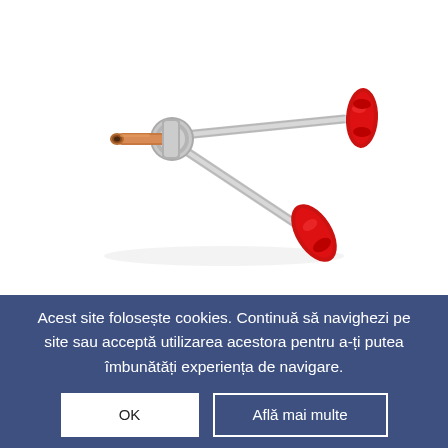[Figure (photo): A metal tube bender / pipe bending tool with two silver metal arms and two red plastic handles, and a copper-colored tube attachment at the pivot point. The tool is photographed on a white background at a diagonal angle.]
Acest site folosește cookies. Continuă să navighezi pe site sau acceptă utilizarea acestora pentru a-ți putea îmbunătăți experiența de navigare.
OK
Află mai multe